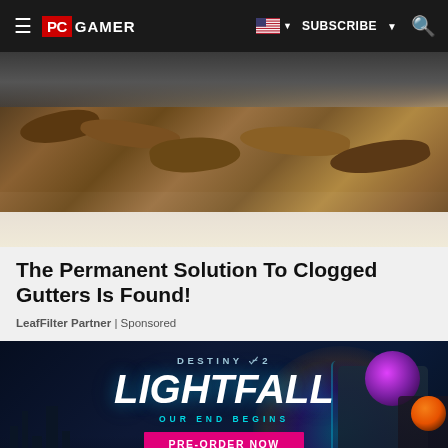PC GAMER | SUBSCRIBE
[Figure (photo): Close-up photo of a clogged house gutter filled with dead leaves and debris]
The Permanent Solution To Clogged Gutters Is Found!
LeafFilter Partner | Sponsored
[Figure (advertisement): Destiny 2 Lightfall game advertisement with tagline 'Our End Begins' and Pre-Order Now button, featuring armored characters]